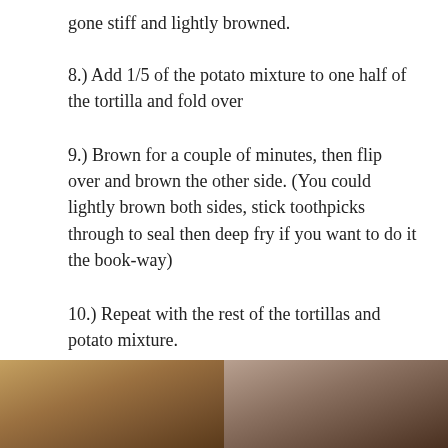gone stiff and lightly browned.
8.) Add 1/5 of the potato mixture to one half of the tortilla and fold over
9.) Brown for a couple of minutes, then flip over and brown the other side. (You could lightly brown both sides, stick toothpicks through to seal then deep fry if you want to do it the book-way)
10.) Repeat with the rest of the tortillas and potato mixture.
11.) Serve!
[Figure (photo): Two food photos side by side showing cooked potato mixture in a pan]
[Figure (photo): Second food photo showing cooked potato mixture in a pan]